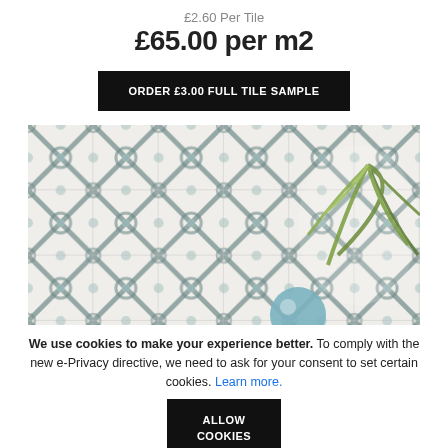£2.60 Per Tile
£65.00 per m2
ORDER £3.00 FULL TILE SAMPLE
[Figure (photo): Decorative geometric patterned tiles in teal/grey on white background with a plant and blue sphere in the corner]
We use cookies to make your experience better. To comply with the new e-Privacy directive, we need to ask for your consent to set certain cookies. Learn more.
ALLOW COOKIES